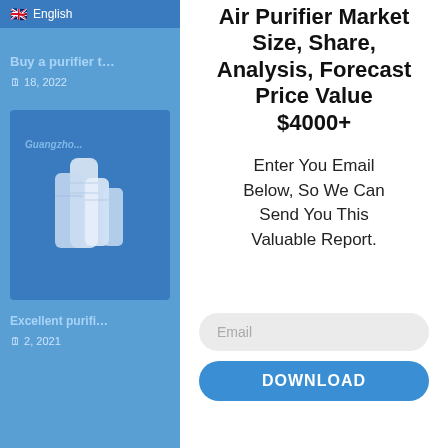[Figure (screenshot): Left blue panel showing a website with English language flag, blue navigation, a link 'Buy a purifier t…' dated 18, 2022, a blue product image box labeled 'Guangzho…' showing air purifiers, and another link 'Excellent purifi…' dated 2021]
Air Purifier Market Size, Share, Analysis, Forecast Price Value $4000+
Enter You Email Below, So We Can Send You This Valuable Report.
Email
DOWNLOAD